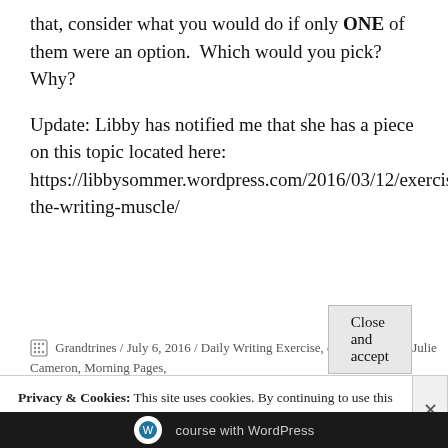that, consider what you would do if only ONE of them were an option.  Which would you pick?  Why?
Update: Libby has notified me that she has a piece on this topic located here: https://libbysommer.wordpress.com/2016/03/12/exercising-the-writing-muscle/
Grandtrines / July 6, 2016 / Daily Writing Exercise, edit, EDITING, Julie Cameron, Morning Pages,
Privacy & Cookies: This site uses cookies. By continuing to use this website, you agree to their use.
To find out more, including how to control cookies, see here: Cookie Policy
Close and accept
course with WordPress